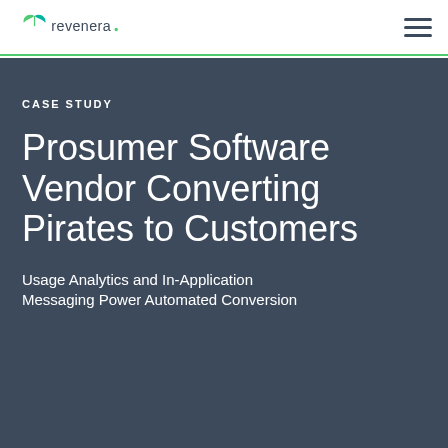revenera
CASE STUDY
Prosumer Software Vendor Converting Pirates to Customers
Usage Analytics and In-Application Messaging Power Automated Conversion